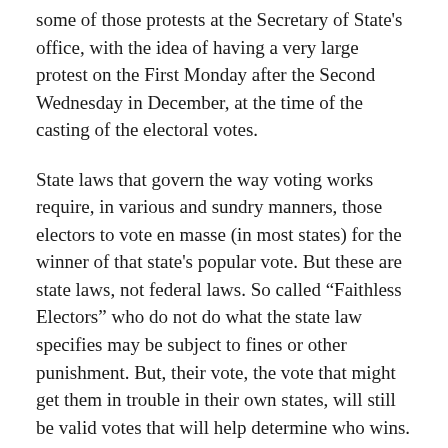some of those protests at the Secretary of State's office, with the idea of having a very large protest on the First Monday after the Second Wednesday in December, at the time of the casting of the electoral votes.
State laws that govern the way voting works require, in various and sundry manners, those electors to vote en masse (in most states) for the winner of that state's popular vote. But these are state laws, not federal laws. So called “Faithless Electors” who do not do what the state law specifies may be subject to fines or other punishment. But, their vote, the vote that might get them in trouble in their own states, will still be valid votes that will help determine who wins.
If faithless electors vote for third party candidates or other random individuals, and enough do that, and the Electoral College fails to achieve the 270 or higher majority for any candidate, then the Electoral College results...